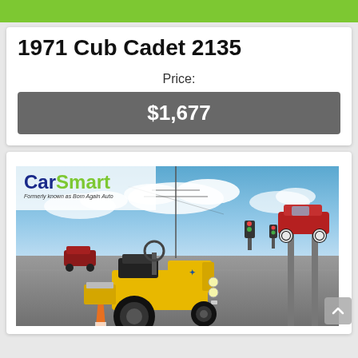1971 Cub Cadet 2135
Price:
$1,677
[Figure (photo): Photo of a yellow 1971 Cub Cadet 2135 riding tractor/mower in a parking lot at a CarSmart dealership. A red classic car is visible on a lift in the background. The CarSmart logo and tagline 'Formerly known as Born Again Auto' appear in the upper left of the image.]